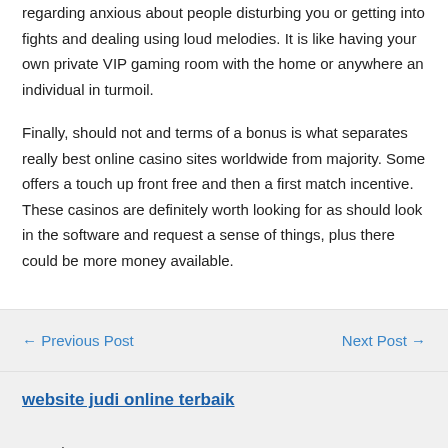regarding anxious about people disturbing you or getting into fights and dealing using loud melodies. It is like having your own private VIP gaming room with the home or anywhere an individual in turmoil.
Finally, should not and terms of a bonus is what separates really best online casino sites worldwide from majority. Some offers a touch up front free and then a first match incentive. These casinos are definitely worth looking for as should look in the software and request a sense of things, plus there could be more money available.
← Previous Post
Next Post →
website judi online terbaik
Search